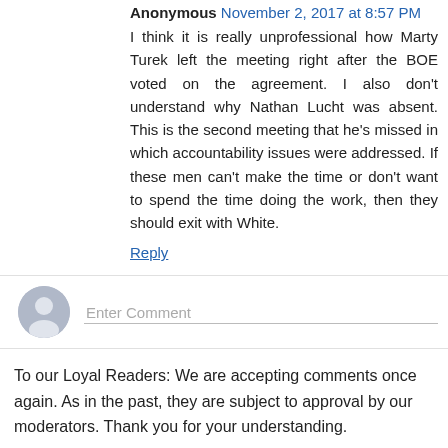Anonymous November 2, 2017 at 8:57 PM
I think it is really unprofessional how Marty Turek left the meeting right after the BOE voted on the agreement. I also don't understand why Nathan Lucht was absent. This is the second meeting that he's missed in which accountability issues were addressed. If these men can't make the time or don't want to spend the time doing the work, then they should exit with White.
Reply
Enter Comment
To our Loyal Readers: We are accepting comments once again. As in the past, they are subject to approval by our moderators. Thank you for your understanding.
If you are posting from your phone, you may encounter a glitch which we are in the process of resolving. If you attempt to submit a comment